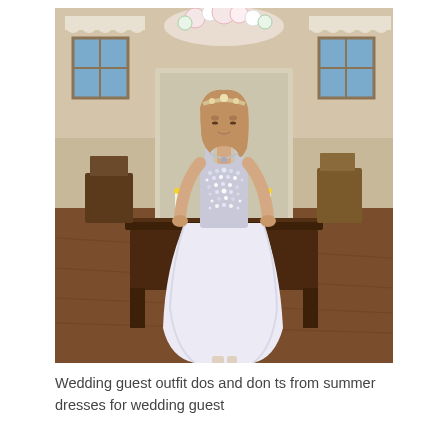[Figure (photo): A young woman wearing a white floor-length gown with a jeweled/beaded bodice and a flowing chiffon skirt with a slit, standing in a ballroom or event hall with candles, floral arrangements, and a dark wood table behind her. She wears a headband and a statement necklace.]
Wedding guest outfit dos and don ts from summer dresses for wedding guest